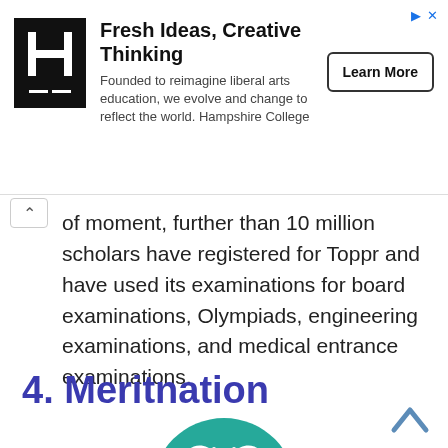[Figure (screenshot): Advertisement banner for Hampshire College: logo (stylized H in black square), headline 'Fresh Ideas, Creative Thinking', subtext 'Founded to reimagine liberal arts education, we evolve and change to reflect the world. Hampshire College', and a 'Learn More' button. Navigation arrows in top right.]
of moment, further than 10 million scholars have registered for Toppr and have used its examinations for board examinations, Olympiads, engineering examinations, and medical entrance examinations.
4. Meritnation
[Figure (logo): Meritnation logo: teal/green circle with white butterfly icon, and 'meritnation' text below with a small butterfly icon to the left]